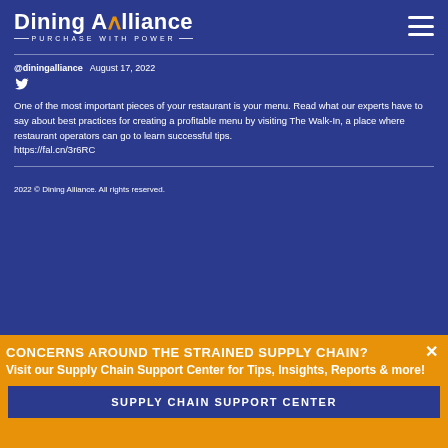[Figure (logo): Dining Alliance logo with 'PURCHASE WITH POWER' tagline in white on blue background]
@diningalliance   August 17, 2022
One of the most important pieces of your restaurant is your menu. Read what our experts have to say about best practices for creating a profitable menu by visiting The Walk-In, a place where restaurant operators can go to learn successful tips. https://fal.cn/3r6RC
2022 © Dining Alliance. All rights reserved.
CONCERNS AROUND THE STRAINED SUPPLY CHAIN?
Visit our Supply Chain Support Center for Tips, Insights, Reports & more!
SUPPLY CHAIN SUPPORT CENTER